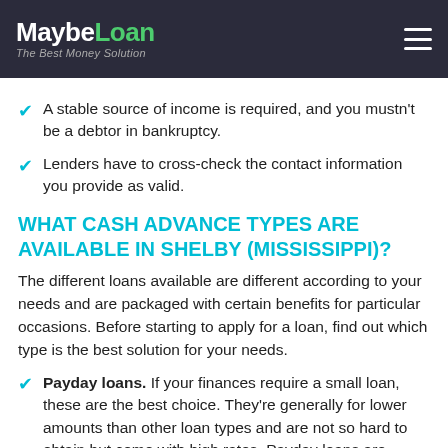MaybeLoan — The Best Money Solution
A stable source of income is required, and you mustn't be a debtor in bankruptcy.
Lenders have to cross-check the contact information you provide as valid.
WHAT CASH ADVANCE TYPES ARE AVAILABLE IN SHELBY (MISSISSIPPI)?
The different loans available are different according to your needs and are packaged with certain benefits for particular occasions. Before starting to apply for a loan, find out which type is the best solution for your needs.
Payday loans. If your finances require a small loan, these are the best choice. They're generally for lower amounts than other loan types and are not so hard to obtain but come with high rates. Payday loans are